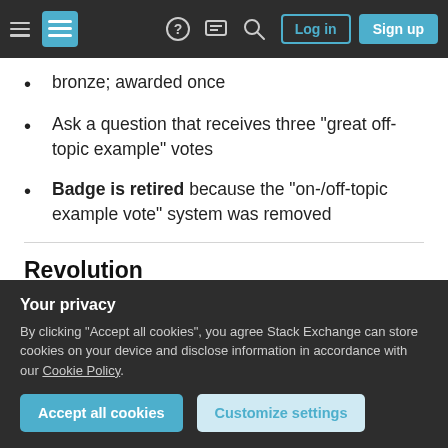Stack Exchange navigation bar with Log in and Sign up buttons
bronze; awarded once
Ask a question that receives three "great off-topic example" votes
Badge is retired because the "on-/off-topic example vote" system was removed
Revolution
gold; awarded multiple times
Create a proposal which gains 100 followers
Your privacy — By clicking "Accept all cookies", you agree Stack Exchange can store cookies on your device and disclose information in accordance with our Cookie Policy.
Accept all cookies | Customize settings